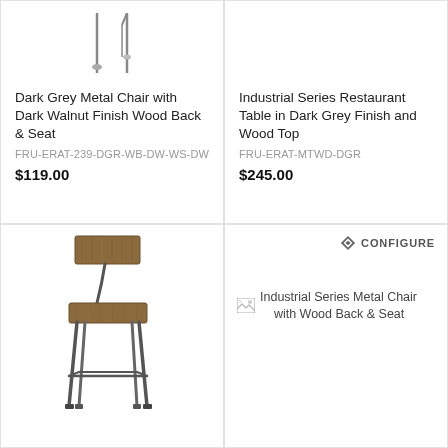[Figure (photo): Product listing image top-left: dark grey metal chair with wood back and seat (partial top of product shown)]
Dark Grey Metal Chair with Dark Walnut Finish Wood Back & Seat
FRU-ERAT-239-DGR-WB-DW-WS-DW
$119.00
[Figure (photo): Product listing image top-right: Industrial Series Restaurant Table (partial top, mostly blank)]
Industrial Series Restaurant Table in Dark Grey Finish and Wood Top
FRU-ERAT-MTWD-DGR
$245.00
[Figure (photo): Industrial bar stool chair with metal frame and wood back and seat, bottom-left cell]
CONFIGURE
[Figure (photo): Broken image placeholder for Industrial Series Metal Chair with Wood Back & Seat, bottom-right cell]
Industrial Series Metal Chair with Wood Back & Seat